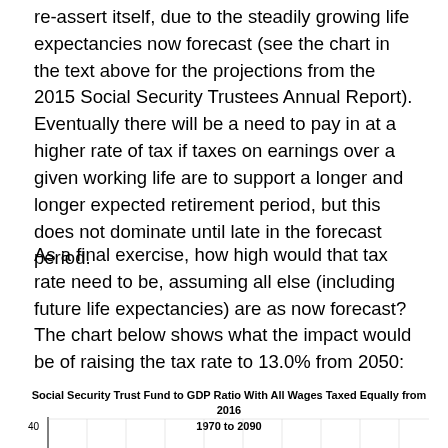re-assert itself, due to the steadily growing life expectancies now forecast (see the chart in the text above for the projections from the 2015 Social Security Trustees Annual Report). Eventually there will be a need to pay in at a higher rate of tax if taxes on earnings over a given working life are to support a longer and longer expected retirement period, but this does not dominate until late in the forecast period.
As a final exercise, how high would that tax rate need to be, assuming all else (including future life expectancies) are as now forecast?  The chart below shows what the impact would be of raising the tax rate to 13.0% from 2050:
[Figure (continuous-plot): Partial chart showing top of a line/area chart with y-axis label '40' visible, x-axis spanning 1970 to 2090. Only the top portion of the chart is visible.]